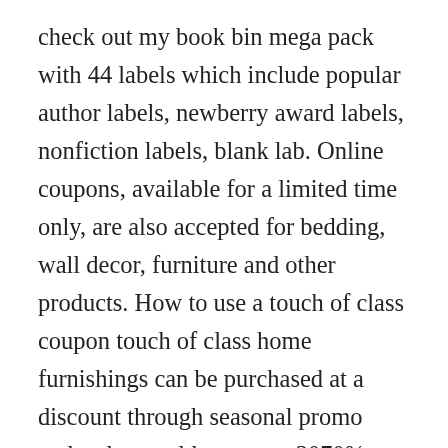check out my book bin mega pack with 44 labels which include popular author labels, newberry award labels, nonfiction labels, blank lab. Online coupons, available for a limited time only, are also accepted for bedding, wall decor, furniture and other products. How to use a touch of class coupon touch of class home furnishings can be purchased at a discount through seasonal promo codes that could save you 3070%. Among the useful features of the book is the use of design by contract, critical to software quality, and providing a smooth introduction to